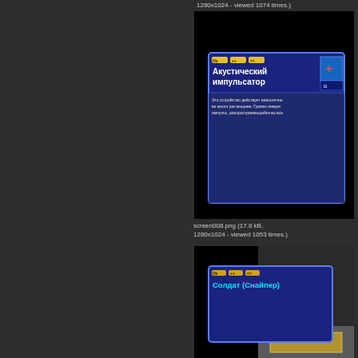1280x1024 - viewed 1074 times.)
[Figure (screenshot): Game screenshot showing a dialog/inventory UI panel with Russian text 'Акустический импульсатор' (Acoustic Impulse) with yellow tab buttons (Ок, ++, <<) and blue UI panel with item description text in Russian, on dark background.]
screen008.png (17.8 kB, 1280x1024 - viewed 1053 times.)
[Figure (screenshot): Game screenshot showing a UI panel with Russian text 'Солдат (Снайпер)' (Soldier Sniper) with yellow tab buttons, on a dark game environment background with lit floor panel.]